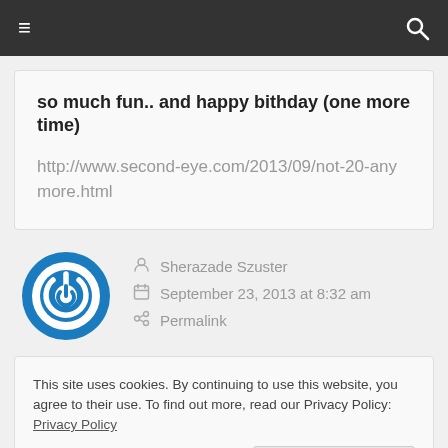≡  [hamburger menu] and [search icon]
so much fun.. and happy bithday (one more time)
http://www.second-eye.com/2013/09/not-20-anymore.html
Sherazade Szuster
September 23, 2013 at 8:32 am
Permalink
This site uses cookies. By continuing to use this website, you agree to their use. To find out more, read our Privacy Policy: Privacy Policy
Close and accept